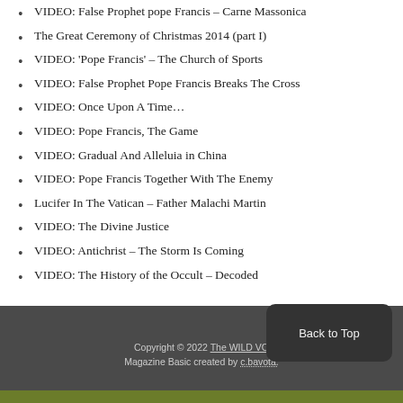VIDEO: False Prophet pope Francis – Carne Massonica
The Great Ceremony of Christmas 2014 (part I)
VIDEO: 'Pope Francis' – The Church of Sports
VIDEO: False Prophet Pope Francis Breaks The Cross
VIDEO: Once Upon A Time…
VIDEO: Pope Francis, The Game
VIDEO: Gradual And Alleluia in China
VIDEO: Pope Francis Together With The Enemy
Lucifer In The Vatican – Father Malachi Martin
VIDEO: The Divine Justice
VIDEO: Antichrist – The Storm Is Coming
VIDEO: The History of the Occult – Decoded
Copyright © 2022 The WILD VO   Magazine Basic created by c.bavota.   Back to Top